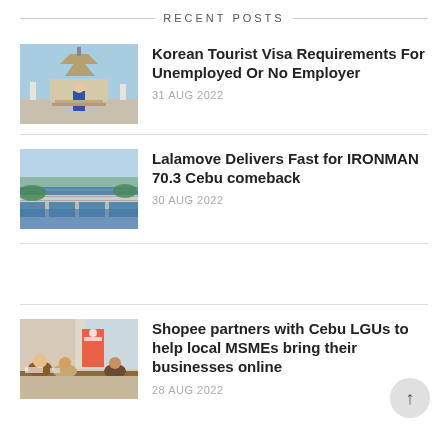RECENT POSTS
[Figure (photo): Photo of a person standing in front of a traditional Korean pagoda/palace building under blue sky]
Korean Tourist Visa Requirements For Unemployed Or No Employer
31 AUG 2022
[Figure (photo): Aerial photo of a long bridge over water with lush greenery on the sides]
Lalamove Delivers Fast for IRONMAN 70.3 Cebu comeback
30 AUG 2022
[Figure (photo): Photo of an indoor event with people seated at tables, Shopee banner visible]
Shopee partners with Cebu LGUs to help local MSMEs bring their businesses online
28 AUG 2022